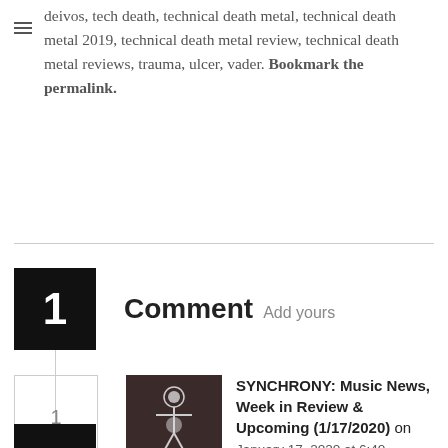deivos, tech death, technical death metal, technical death metal 2019, technical death metal review, technical death metal reviews, trauma, ulcer, vader. Bookmark the permalink.
1 Comment Add yours
SYNCHRONY: Music News, Week in Review & Upcoming (1/17/2020) on January 17, 2020 at 6:40 pm
[...] Deivos – Casus Belli (2019) | REVIEW [...]